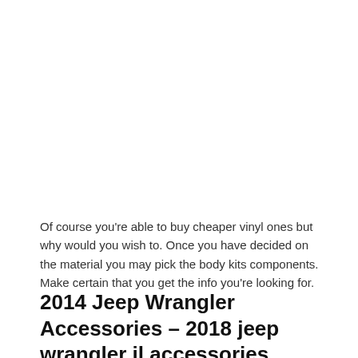Of course you're able to buy cheaper vinyl ones but why would you wish to. Once you have decided on the material you may pick the body kits components. Make certain that you get the info you're looking for.
2014 Jeep Wrangler Accessories – 2018 jeep wrangler jl accessories